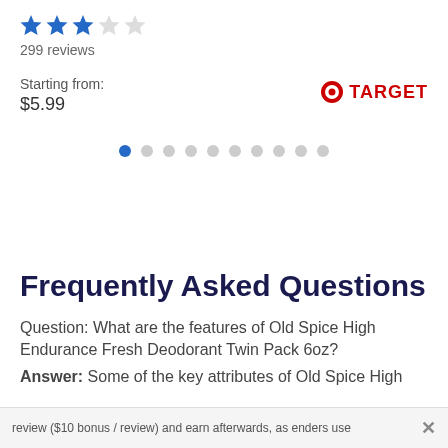[Figure (other): Star rating display: 3 filled blue stars and 2 empty/grey stars]
299 reviews
Starting from:
$5.99
[Figure (logo): Target logo: red bullseye circle icon with red text TARGET]
[Figure (other): Pagination dots: 10 dots with the first one highlighted in blue and the rest in grey]
Frequently Asked Questions
Question: What are the features of Old Spice High Endurance Fresh Deodorant Twin Pack 6oz?
Answer: Some of the key attributes of Old Spice High
review ($10 bonus / review) and earn afterwards, asenders use